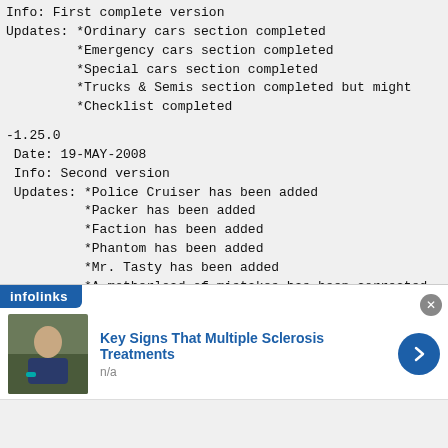Info: First complete version
Updates: *Ordinary cars section completed
         *Emergency cars section completed
         *Special cars section completed
         *Trucks & Semis section completed but might
         *Checklist completed
-1.25.0
 Date: 19-MAY-2008
 Info: Second version
 Updates: *Police Cruiser has been added
          *Packer has been added
          *Faction has been added
          *Phantom has been added
          *Mr. Tasty has been added
          *A motherload of mistakes has been corrected
-1.25.2
 Date: 20-MAY-2008
 Info: Third version
 Updates: *Links to multiple hosts have been added
[Figure (screenshot): Infolinks advertisement banner showing 'Key Signs That Multiple Sclerosis Treatments' with a photo of a person and a blue arrow button. Subtitle: n/a]